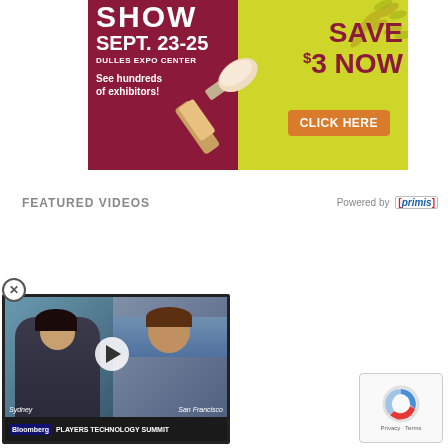[Figure (photo): Advertisement banner for a home show. Dark red/maroon and yellow-green background with a paintbrush. Text: SHOW, SEPT. 23-25, DULLES EXPO CENTER, See hundreds of exhibitors!, SAVE $3 NOW, CLICK HERE button.]
FEATURED VIDEOS
Powered by [primis]
[Figure (screenshot): Video player showing Bloomberg TV. Two people visible in split screen (Sydney and San Francisco locations). Play button in center. Bottom bar shows Bloomberg logo and title: PLAYERS TECHNOLOGY SUMMIT]